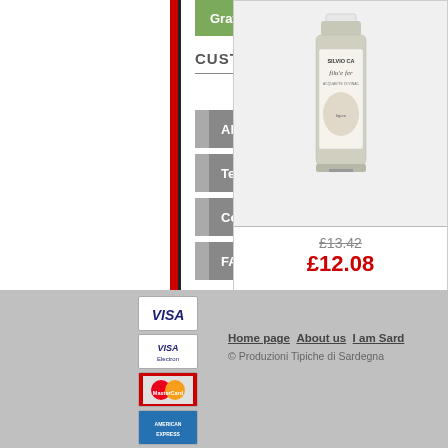Gratis
CUSTOMER SERVICE
About us
Terms of sale
Contact us
FAQ
[Figure (photo): Bottle of Silvio Ca... filu'e fer... wine product]
£13.42
£12.08
[Figure (logo): VISA payment logo]
[Figure (logo): VISA Electron payment logo]
[Figure (logo): MasterCard payment logo]
[Figure (logo): American Express payment logo]
[Figure (logo): PayPal payment logo]
Home page   About us   I am Sard...   © Produzioni Tipiche di Sardegna